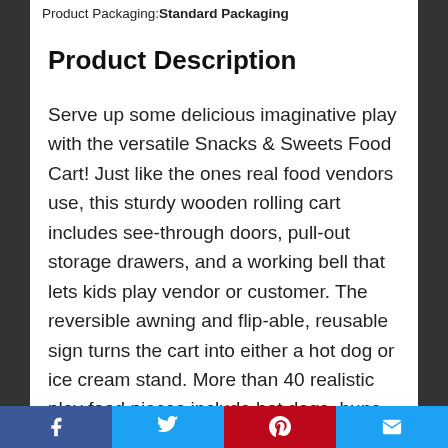Product Packaging: Standard Packaging
Product Description
Serve up some delicious imaginative play with the versatile Snacks & Sweets Food Cart! Just like the ones real food vendors use, this sturdy wooden rolling cart includes see-through doors, pull-out storage drawers, and a working bell that lets kids play vendor or customer. The reversible awning and flip-able, reusable sign turns the cart into either a hot dog or ice cream stand. More than 40 realistic play food pieces include hot dogs, buns, pretzels, condiments, and drinks for
Facebook Twitter Pinterest Email